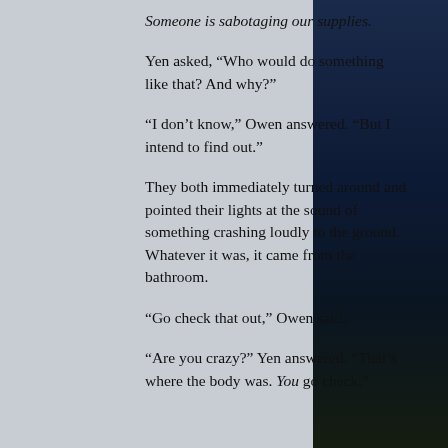Someone is sabotaging our supplies.
Yen asked, “Who would do something like that? And why?”
“I don’t know,” Owen answered. “But I intend to find out.”
They both immediately turned around and pointed their lights at the sound of something crashing loudly to the ground. Whatever it was, it came from the bathroom.
“Go check that out,” Owen said.
“Are you crazy?” Yen answered. “That’s where the body was. You go check.”